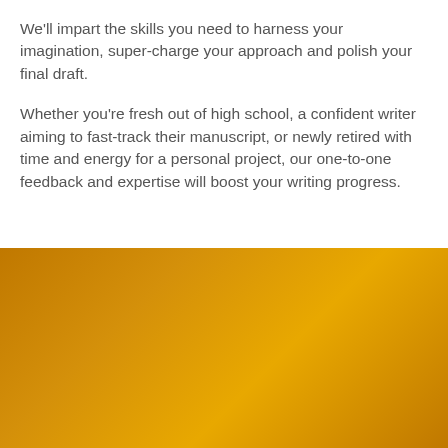We'll impart the skills you need to harness your imagination, super-charge your approach and polish your final draft.
Whether you're fresh out of high school, a confident writer aiming to fast-track their manuscript, or newly retired with time and energy for a personal project, our one-to-one feedback and expertise will boost your writing progress.
[Figure (other): Golden/amber gradient background block filling the lower half of the page]